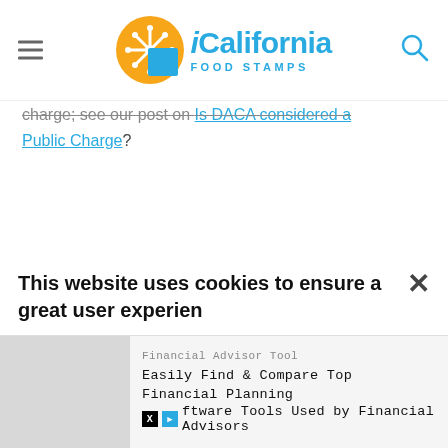iCalifornia Food Stamps
charge; see our post on Is DACA considered a Public Charge?
This website uses cookies to ensure a great user experien
[Figure (screenshot): Advertisement banner: Financial Advisor Tool - Easily Find & Compare Top Financial Planning ftware Tools Used by Financial Advisors]